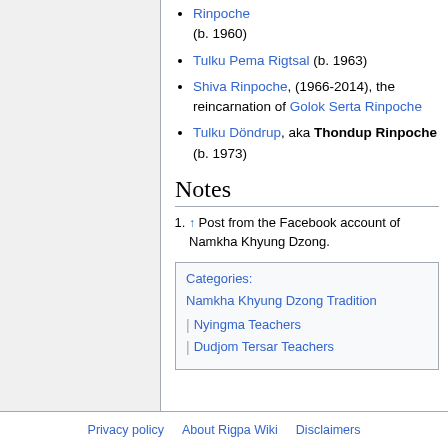Rinpoche (b. 1960)
Tulku Pema Rigtsal (b. 1963)
Shiva Rinpoche, (1966-2014), the reincarnation of Golok Serta Rinpoche
Tulku Döndrup, aka Thondup Rinpoche (b. 1973)
Notes
1. ↑ Post from the Facebook account of Namkha Khyung Dzong.
Categories: Namkha Khyung Dzong Tradition | Nyingma Teachers | Dudjom Tersar Teachers
Privacy policy   About Rigpa Wiki   Disclaimers